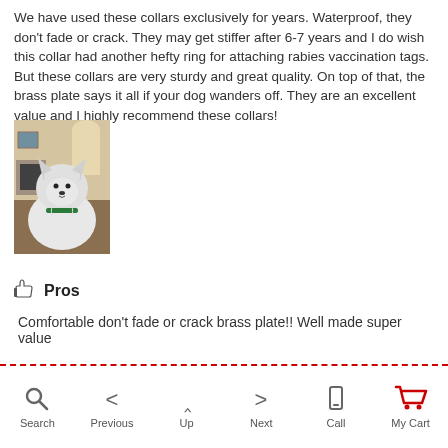We have used these collars exclusively for years. Waterproof, they don’t fade or crack. They may get stiffer after 6-7 years and I do wish this collar had another hefty ring for attaching rabies vaccination tags. But these collars are very sturdy and great quality. On top of that, the brass plate says it all if your dog wanders off. They are an excellent value and I highly recommend these collars!
[Figure (photo): Photo of a small white fluffy dog (appears to be a West Highland Terrier) wearing a green collar, sitting in a home interior with fireplace and arched doorway visible in background.]
Pros
Comfortable don't fade or crack brass plate!! Well made super value
Search  Previous  Up  Next  Call  My Cart